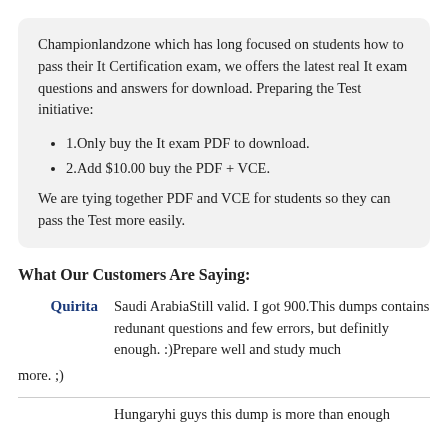Championlandzone which has long focused on students how to pass their It Certification exam, we offers the latest real It exam questions and answers for download. Preparing the Test initiative:
1.Only buy the It exam PDF to download.
2.Add $10.00 buy the PDF + VCE.
We are tying together PDF and VCE for students so they can pass the Test more easily.
What Our Customers Are Saying:
Quirita — Saudi ArabiaStill valid. I got 900.This dumps contains redunant questions and few errors, but definitly enough. :)Prepare well and study much more. ;)
Hungary — hi guys this dump is more than enough